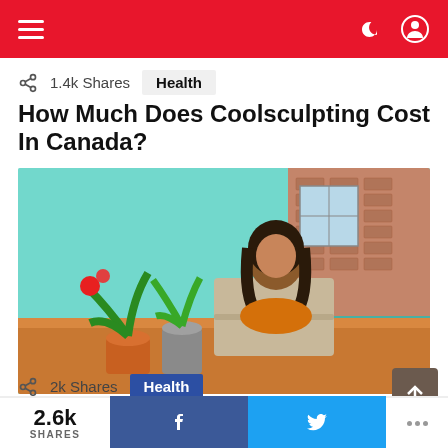Navigation bar with hamburger menu, dark mode icon, and user icon
1.4k Shares   Health
How Much Does Coolsculpting Cost In Canada?
[Figure (photo): Woman in orange top sitting at a wooden desk with a laptop, smiling. A red flowering plant and green plant in pots are to her left. A brick building is visible through the window behind her. Teal/mint colored walls.]
2k Shares   Health
How Useful is Virtual Intensive Outpatient…
2.6k SHARES  f  Twitter  ...